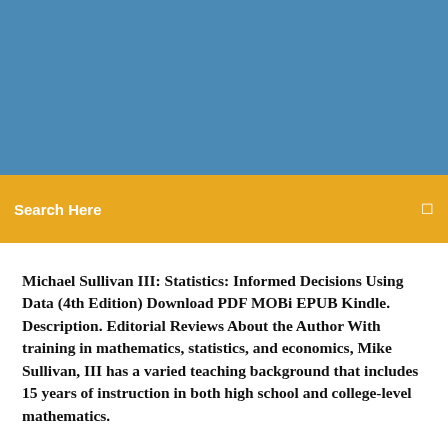[Figure (other): Blue header banner background]
Search Here
Michael Sullivan III: Statistics: Informed Decisions Using Data (4th Edition) Download PDF MOBi EPUB Kindle. Description. Editorial Reviews About the Author With training in mathematics, statistics, and economics, Mike Sullivan, III has a varied teaching background that includes 15 years of instruction in both high school and college-level mathematics.